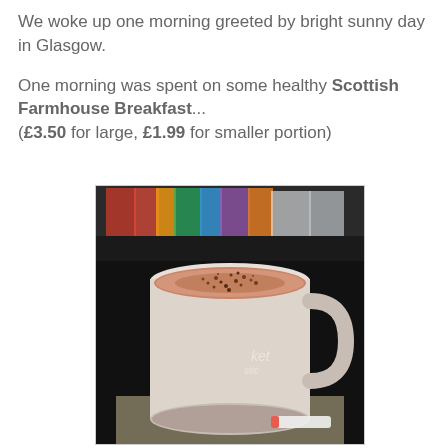We woke up one morning greeted by bright sunny day in Glasgow.
One morning was spent on some healthy Scottish Farmhouse Breakfast... (£3.50 for large, £1.99 for smaller portion)
[Figure (photo): A white ceramic mug filled with a hot drink topped with chocolate powder/cocoa sprinkled on top, sitting on a dark surface with magazines visible in the background.]